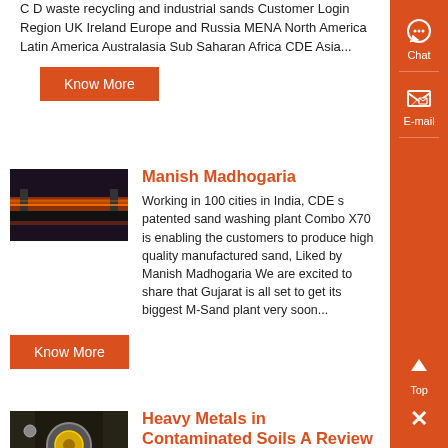C D waste recycling and industrial sands Customer Login Region UK Ireland Europe and Russia MENA North America Latin America Australasia Sub Saharan Africa CDE Asia...
Know More
Manish Madhogaria
[Figure (photo): Thumbnail image of an industrial sand washing conveyor/machine with orange lighting]
Working in 100 cities in India, CDE s patented sand washing plant Combo X70 is enabling the customers to produce high quality manufactured sand, Liked by Manish Madhogaria We are excited to share that Gujarat is all set to get its biggest M-Sand plant very soon...
Know More
Heavy Metals in Contaminated Soils A Review of Sources ,
[Figure (photo): Thumbnail image of an industrial metal/soil processing machine part with yellow component visible]
Scattered literature is harnessed to critically review the